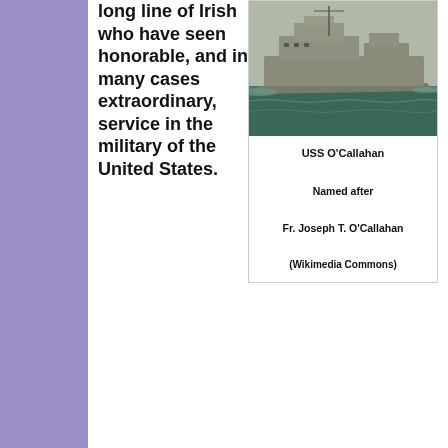long line of Irish who have seen honorable, and in many cases extraordinary, service in the military of the United States.
[Figure (photo): A naval warship (USS O'Callahan) sailing on water, photographed from the side]
USS O'Callahan

Named after

Fr. Joseph T. O'Callahan

(Wikimedia Commons)